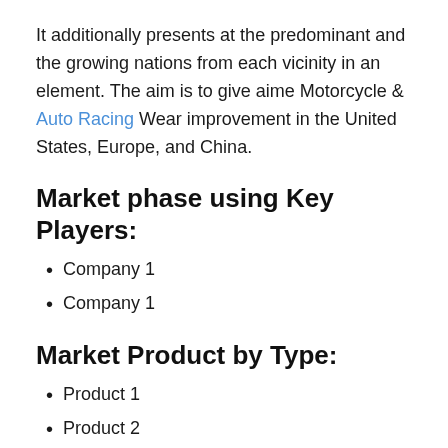It additionally presents at the predominant and the growing nations from each vicinity in an element. The aim is to give aime Motorcycle & Auto Racing Wear improvement in the United States, Europe, and China.
Market phase using Key Players:
Company 1
Company 1
Market Product by Type:
Product 1
Product 2
Market section through Application: